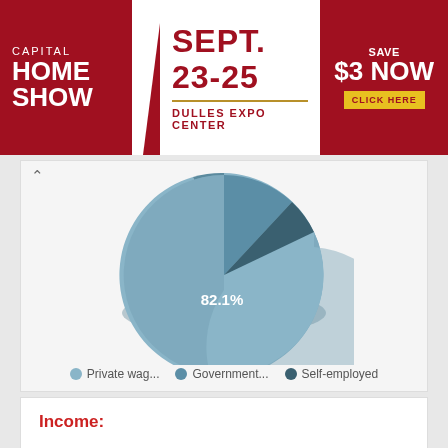[Figure (infographic): Capital Home Show advertisement banner: SEPT. 23-25, DULLES EXPO CENTER, SAVE $3 NOW, CLICK HERE]
[Figure (pie-chart): Employment type pie chart]
Income:
| Category | Value |
| --- | --- |
| Total households | 9,608 |
| Less than $10,000 | 519 |
| $10,000 to $14,999 | 396 |
| $15,000 to $24,999 | 818 |
| $25,000 to $34,999 | 805 |